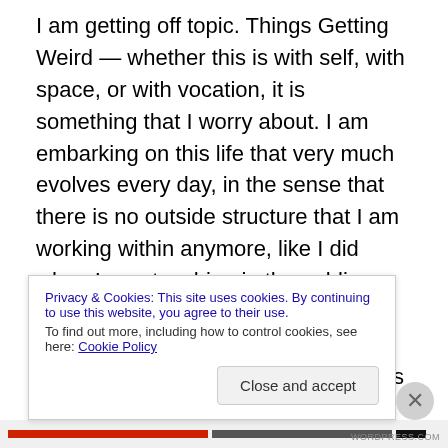I am getting off topic. Things Getting Weird — whether this is with self, with space, or with vocation, it is something that I worry about. I am embarking on this life that very much evolves every day, in the sense that there is no outside structure that I am working within anymore, like I did when I was teaching in the public schools. Now I am inventing the structure, embarking on what I hope will be a huge adventure that sustains me emotionally, spiritually and financially as well as providing space and skills to others who wish to hone them. At this point, after these last two years, my contention is that artistic expression
Privacy & Cookies: This site uses cookies. By continuing to use this website, you agree to their use. To find out more, including how to control cookies, see here: Cookie Policy
Close and accept